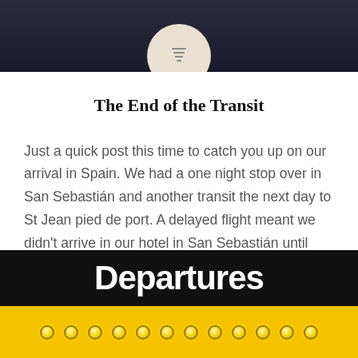[Figure (photo): Dark circular vinyl record or similar disk object against dark background, with a white hamburger menu icon circle overlay at the bottom of the image]
The End of the Transit
Just a quick post this time to catch you up on our arrival in Spain. We had a one night stop over in San Sebastián and another transit the next day to St Jean pied de port. A delayed flight meant we didn't arrive in our hotel in San Sebastián until 7pm. We showered changed…
[Figure (photo): Airport Departures sign in large white bold text on black background, below which is a yellow illuminated panel with round light bulbs]